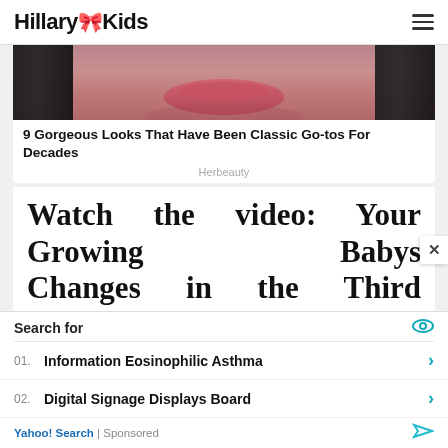HillaryKids
[Figure (photo): Close-up photo of a person's lower face showing lips and dark hair]
9 Gorgeous Looks That Have Been Classic Go-tos For Decades
Herbeauty
Watch the video: Your Growing Babys Changes in the Third Trimester (August
Search for
01. Information Eosinophilic Asthma
02. Digital Signage Displays Board
Yahoo! Search | Sponsored